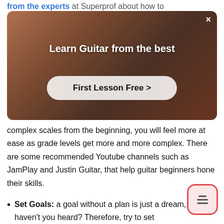from the experts at Superprof about how to
[Figure (screenshot): Advertisement banner for Superprof guitar lessons. Shows a person playing guitar in background. Text reads 'Learn Guitar from the best' with a 'First Lesson Free >' button. Has a close (×) button in top right.]
complex scales from the beginning, you will feel more at ease as grade levels get more and more complex. There are some recommended Youtube channels such as JamPlay and Justin Guitar, that help guitar beginners hone their skills.
Set Goals: a goal without a plan is just a dream, haven't you heard? Therefore, try to set